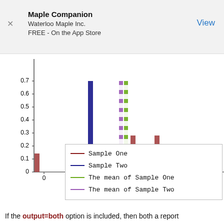Maple Companion
Waterloo Maple Inc.
FREE - On the App Store
[Figure (histogram): ]
Sample One
Sample Two
The mean of Sample One
The mean of Sample Two
If the output=both option is included, then both a report